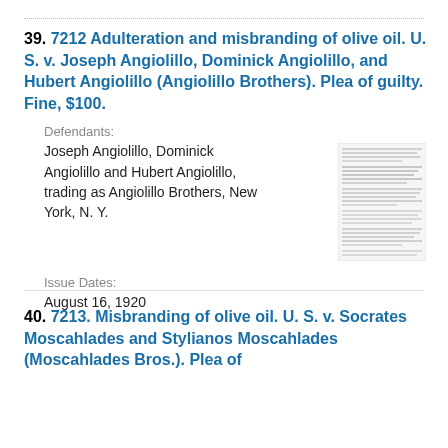39. 7212 Adulteration and misbranding of olive oil. U. S. v. Joseph Angiolillo, Dominick Angiolillo, and Hubert Angiolillo (Angiolillo Brothers). Plea of guilty. Fine, $100.
Defendants:
Joseph Angiolillo, Dominick Angiolillo and Hubert Angiolillo, trading as Angiolillo Brothers, New York, N. Y.
[Figure (screenshot): Thumbnail image of a document page with dense small text]
Issue Dates:
August 16, 1920
40. 7213. Misbranding of olive oil. U. S. v. Socrates Moscahlades and Stylianos Moscahlades (Moscahlades Bros.). Plea of